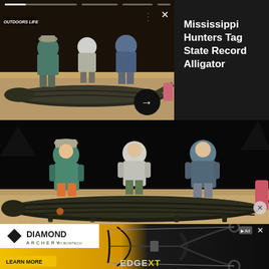[Figure (screenshot): Notification card showing three hunters posing with a large alligator on a sandy surface at night, with Outdoors Life branding, navigation dots and X close button, and a dark arrow button. Right side shows dark background with headline text.]
Mississippi Hunters Tag State Record Alligator
[Figure (photo): Large photograph of hunters posing behind a massive alligator laid out on a sandy surface at night. Three people visible crouching behind the gator.]
[Figure (screenshot): Diamond Archery by Bowtech advertisement banner showing a compound bow (Edge XT) with Learn More call to action on yellow/black background.]
Making great way to great way to who